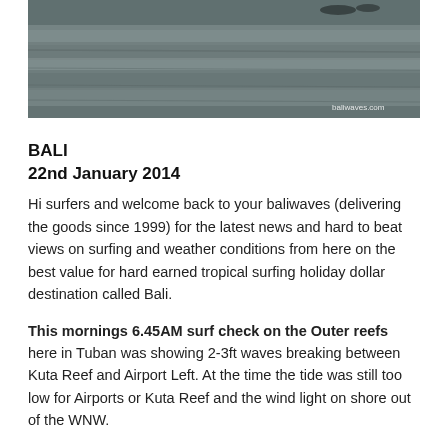[Figure (photo): Water surface photo showing ocean/sea with ripples, with 'baliwaves.com' watermark in bottom right corner]
BALI
22nd January 2014
Hi surfers and welcome back to your baliwaves (delivering the goods since 1999) for the latest news and hard to beat views on surfing and weather conditions from here on the best value for hard earned tropical surfing holiday dollar destination called Bali.
This mornings 6.45AM surf check on the Outer reefs here in Tuban was showing 2-3ft waves breaking between Kuta Reef and Airport Left. At the time the tide was still too low for Airports or Kuta Reef and the wind light on shore out of the WNW.